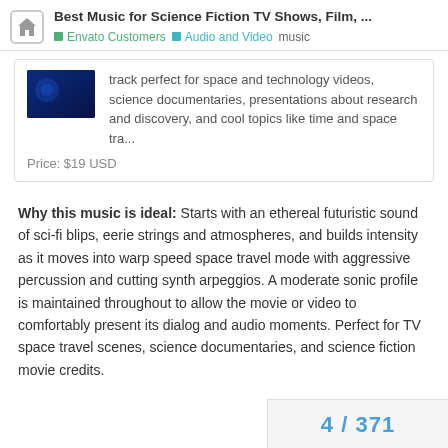Best Music for Science Fiction TV Shows, Film, ...
track perfect for space and technology videos, science documentaries, presentations about research and discovery, and cool topics like time and space tra...
Price: $19 USD
Why this music is ideal: Starts with an ethereal futuristic sound of sci-fi blips, eerie strings and atmospheres, and builds intensity as it moves into warp speed space travel mode with aggressive percussion and cutting synth arpeggios. A moderate sonic profile is maintained throughout to allow the movie or video to comfortably present its dialog and audio moments. Perfect for TV space travel scenes, science documentaries, and science fiction movie credits.
4 / 371